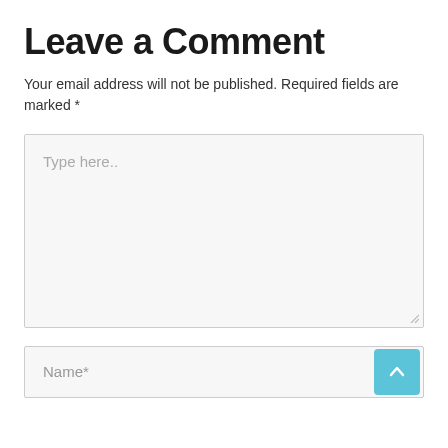Leave a Comment
Your email address will not be published. Required fields are marked *
[Figure (screenshot): Large text area input field with placeholder text 'Type here..' and a resize handle at the bottom right]
[Figure (screenshot): Name input field with placeholder 'Name*' and a blue scroll-to-top button with an upward chevron arrow]